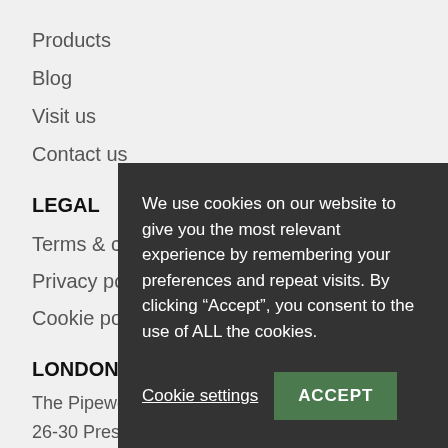Products
Blog
Visit us
Contact us
LEGAL
Terms & conditions
Privacy policy
Cookie policy
LONDON SHOW...
The Pipeworks,
26-30 Prescott P...
London SW4 6BU...
Tel: +44 (0)20 77...
Email: salesteam...
We use cookies on our website to give you the most relevant experience by remembering your preferences and repeat visits. By clicking “Accept”, you consent to the use of ALL the cookies.
Cookie settings
ACCEPT